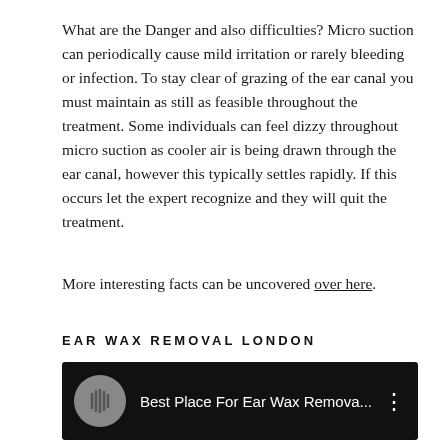What are the Danger and also difficulties? Micro suction can periodically cause mild irritation or rarely bleeding or infection. To stay clear of grazing of the ear canal you must maintain as still as feasible throughout the treatment. Some individuals can feel dizzy throughout micro suction as cooler air is being drawn through the ear canal, however this typically settles rapidly. If this occurs let the expert recognize and they will quit the treatment.
More interesting facts can be uncovered over here.
EAR WAX REMOVAL LONDON
[Figure (screenshot): YouTube video widget with dark background showing a circular thumbnail of an ear wax image and title 'Best Place For Ear Wax Remova...' with a three-dot menu icon]